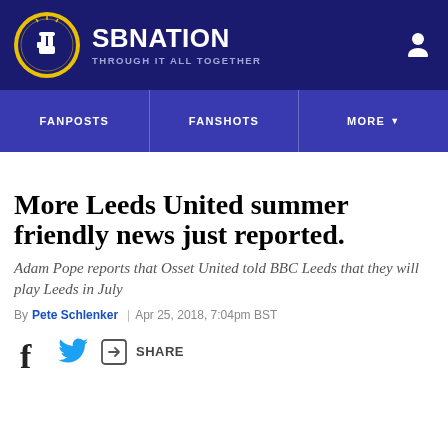SB NATION | THROUGH IT ALL TOGETHER
[Figure (logo): SB Nation logo circle with fist icon in yellow and white on dark blue background]
More Leeds United summer friendly news just reported.
Adam Pope reports that Osset United told BBC Leeds that they will play Leeds in July
By Pete Schlenker | Apr 25, 2018, 7:04pm BST